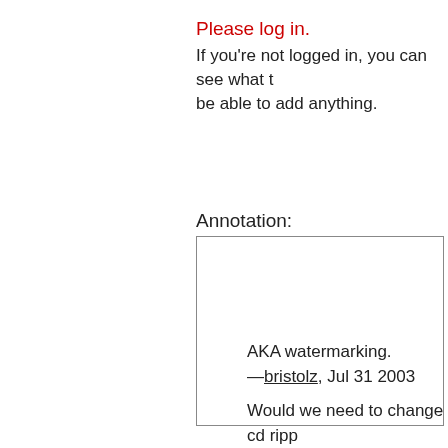Please log in.
If you're not logged in, you can see what th be able to add anything.
Annotation:
AKA watermarking.
—bristolz, Jul 31 2003
Would we need to change cd ripp the id is preserved? Sounds like admit a strong bias against the u perhaps its used anonymously